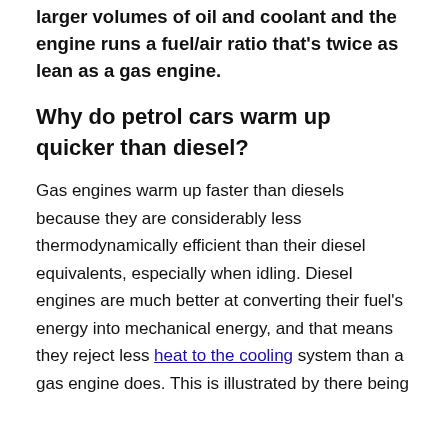block, thicker rods, etc. Diesels also hold larger volumes of oil and coolant and the engine runs a fuel/air ratio that's twice as lean as a gas engine.
Why do petrol cars warm up quicker than diesel?
Gas engines warm up faster than diesels because they are considerably less thermodynamically efficient than their diesel equivalents, especially when idling. Diesel engines are much better at converting their fuel's energy into mechanical energy, and that means they reject less heat to the cooling system than a gas engine does. This is illustrated by there being